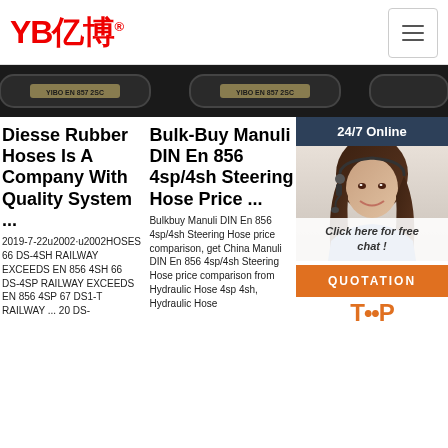YB亿博®
[Figure (photo): Product hose strip showing black rubber hydraulic hoses with YIBO EN 857 2SC labels, three hoses visible]
[Figure (photo): Customer service agent photo with 24/7 Online banner, woman with headset smiling, Click here for free chat overlay, and QUOTATION orange button]
Diesse Rubber Hoses Is A Company With Quality System ...
2019-7-22u2002·u2002HOSES 66 DS-4SH RAILWAY EXCEEDS EN 856 4SH 66 DS-4SP RAILWAY EXCEEDS EN 856 4SP 67 DS1-T RAILWAY ... 20 DS-
Bulk-Buy Manuli DIN En 856 4sp/4sh Steering Hose Price ...
Bulkbuy Manuli DIN En 856 4sp/4sh Steering Hose price comparison, get China Manuli DIN En 856 4sp/4sh Steering Hose price comparison from Hydraulic Hose 4sp 4sh, Hydraulic Hose
Ch DIN 4sp Ste - C
details about China Hydraulic Hose 4sp 4sh, Hydraulic Hose 4sp/4sh from Manuli DIN En 856 4sp/4sh Steering Hose - HEBEI